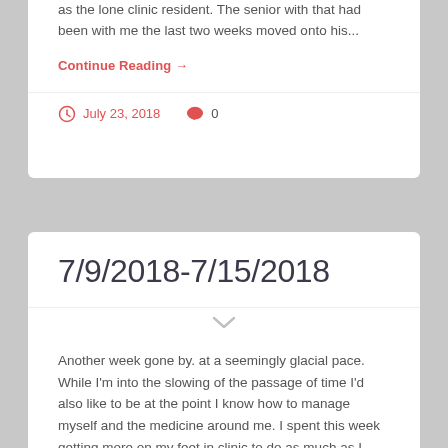as the lone clinic resident. The senior with that had been with me the last two weeks moved onto his...
Continue Reading →
July 23, 2018   0
7/9/2018-7/15/2018
Another week gone by. at a seemingly glacial pace. While I'm into the slowing of the passage of time I'd also like to be at the point I know how to manage myself and the medicine around me. I spent this week getting more on my feet in clinic to do as much as I...